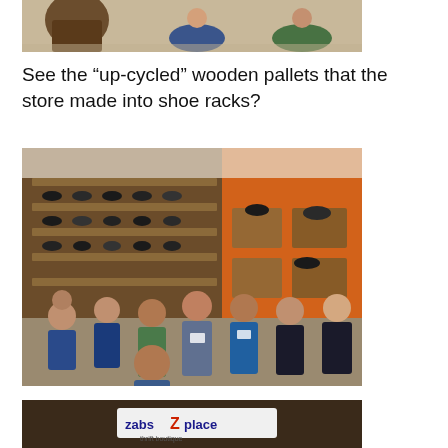[Figure (photo): Top portion of a photo showing children sitting on the floor and wooden chairs in what appears to be a store interior]
See the “up-cycled” wooden pallets that the store made into shoe racks?
[Figure (photo): Group of school-age children standing inside a shoe store with wooden pallet shoe racks on the wall and an orange accent wall; shoes are displayed on wooden pallet shelves and wooden crate shelves]
[Figure (photo): Partial view of a sign reading 'zabs Z place thrift boutique']